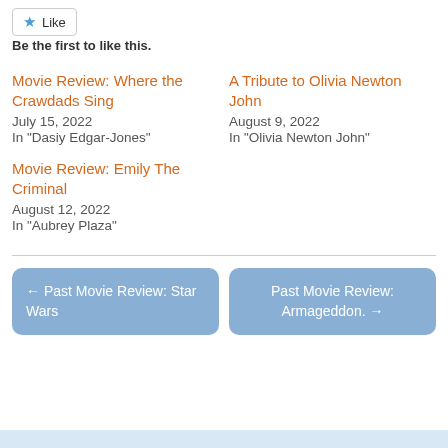Like
Be the first to like this.
Movie Review: Where the Crawdads Sing
July 15, 2022
In "Dasiy Edgar-Jones"
A Tribute to Olivia Newton John
August 9, 2022
In "Olivia Newton John"
Movie Review: Emily The Criminal
August 12, 2022
In "Aubrey Plaza"
← Past Movie Review: Star Wars
Past Movie Review: Armageddon. →